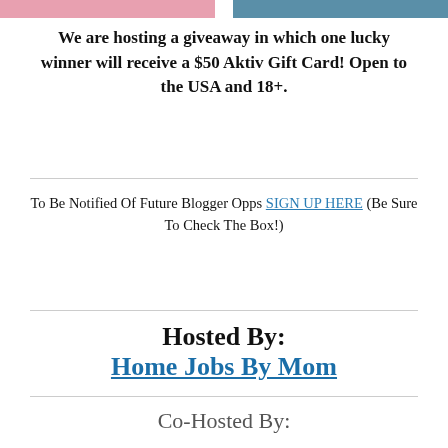[Figure (photo): Partial image strip at top showing pink and teal/blue background content]
We are hosting a giveaway in which one lucky winner will receive a $50 Aktiv Gift Card! Open to the USA and 18+.
To Be Notified Of Future Blogger Opps SIGN UP HERE (Be Sure To Check The Box!)
Hosted By:
Home Jobs By Mom
Co-Hosted By: